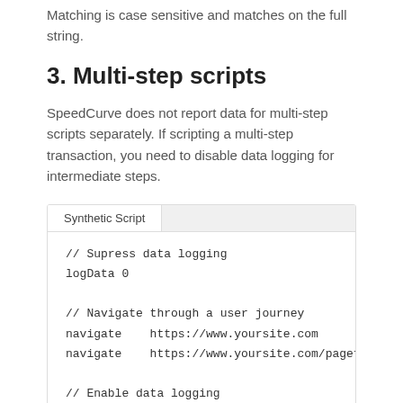Matching is case sensitive and matches on the full string.
3. Multi-step scripts
SpeedCurve does not report data for multi-step scripts separately. If scripting a multi-step transaction, you need to disable data logging for intermediate steps.
| Synthetic Script |  |
| --- | --- |
| // Supress data logging
logData 0

// Navigate through a user journey
navigate    https://www.yoursite.com
navigate    https://www.yoursite.com/pagetwo

// Enable data logging
logData 1 |  |